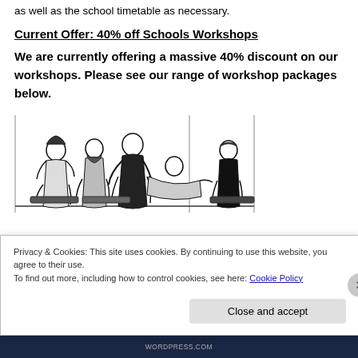as well as the school timetable as necessary.
Current Offer: 40% off Schools Workshops
We are currently offering a massive 40% discount on our workshops. Please see our range of workshop packages below.
[Figure (illustration): Black and white illustration of a group of people sitting together, appearing to be in a workshop or rehearsal setting]
Privacy & Cookies: This site uses cookies. By continuing to use this website, you agree to their use.
To find out more, including how to control cookies, see here: Cookie Policy
Close and accept